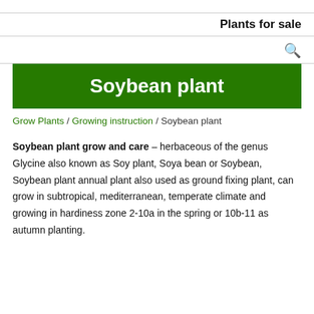Plants for sale
Soybean plant
Grow Plants / Growing instruction / Soybean plant
Soybean plant grow and care – herbaceous of the genus Glycine also known as Soy plant, Soya bean or Soybean, Soybean plant annual plant also used as ground fixing plant, can grow in subtropical, mediterranean, temperate climate and growing in hardiness zone 2-10a in the spring or 10b-11 as autumn planting.